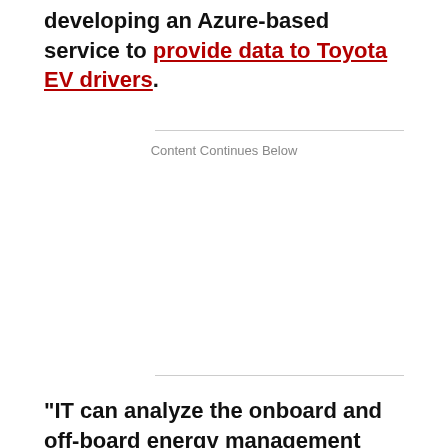developing an Azure-based service to provide data to Toyota EV drivers.
Content Continues Below
"IT can analyze the onboard and off-board energy management required for electric cars